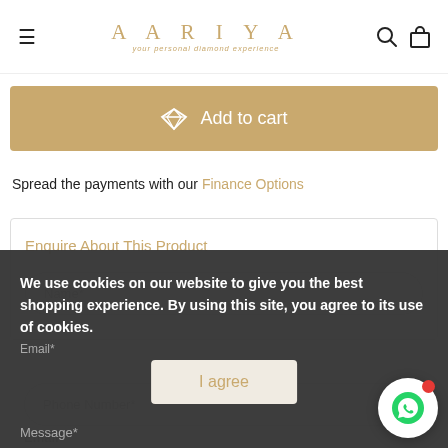AARIYA — your personal diamond experience
Add to cart
Spread the payments with our Finance Options
Enquire About This Product
Name*
Phone Number*
Email*
Message*
We use cookies on our website to give you the best shopping experience. By using this site, you agree to its use of cookies.
I agree